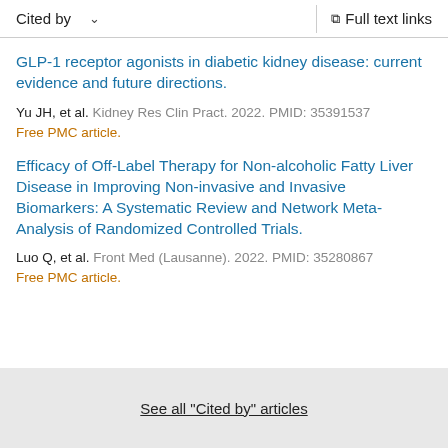Cited by   ∨   Full text links
GLP-1 receptor agonists in diabetic kidney disease: current evidence and future directions.
Yu JH, et al. Kidney Res Clin Pract. 2022. PMID: 35391537
Free PMC article.
Efficacy of Off-Label Therapy for Non-alcoholic Fatty Liver Disease in Improving Non-invasive and Invasive Biomarkers: A Systematic Review and Network Meta-Analysis of Randomized Controlled Trials.
Luo Q, et al. Front Med (Lausanne). 2022. PMID: 35280867
Free PMC article.
See all "Cited by" articles